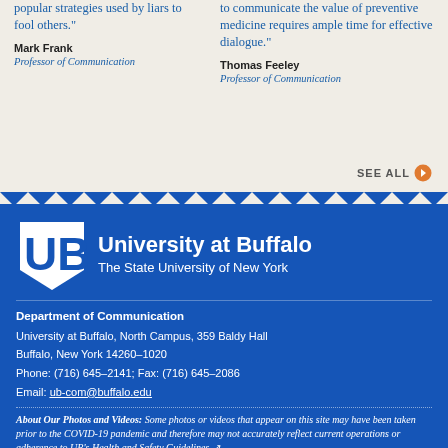popular strategies used by liars to fool others."
Mark Frank
Professor of Communication
to communicate the value of preventive medicine requires ample time for effective dialogue."
Thomas Feeley
Professor of Communication
SEE ALL
[Figure (logo): University at Buffalo - The State University of New York logo with UB shield]
Department of Communication
University at Buffalo, North Campus, 359 Baldy Hall
Buffalo, New York 14260-1020
Phone: (716) 645-2141; Fax: (716) 645-2086
Email: ub-com@buffalo.edu
About Our Photos and Videos: Some photos or videos that appear on this site may have been taken prior to the COVID-19 pandemic and therefore may not accurately reflect current operations or adherence to UB's Health and Safety Guidelines.